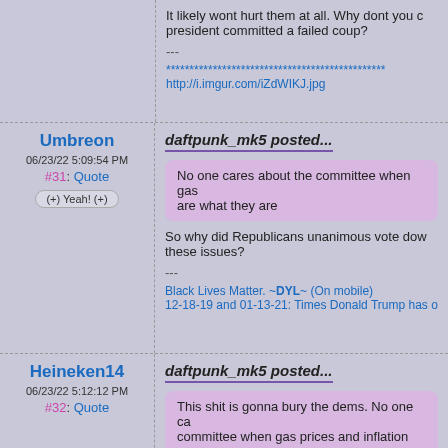It likely wont hurt them at all. Why dont you care that your president committed a failed coup?
---
***********************************************
http://i.imgur.com/iZdWIKJ.jpg
Umbreon
06/23/22 5:09:54 PM
#31: Quote
(+) Yeah! (+)
daftpunk_mk5 posted...
No one cares about the committee when gas are what they are
So why did Republicans unanimous vote down these issues?
---
Black Lives Matter. ~DYL~ (On mobile)
12-18-19 and 01-13-21: Times Donald Trump has offic...
Heineken14
06/23/22 5:12:12 PM
#32: Quote
daftpunk_mk5 posted...
This shit is gonna bury the dems. No one ca... committee when gas prices and inflation are... more democrats focus on literally anything...